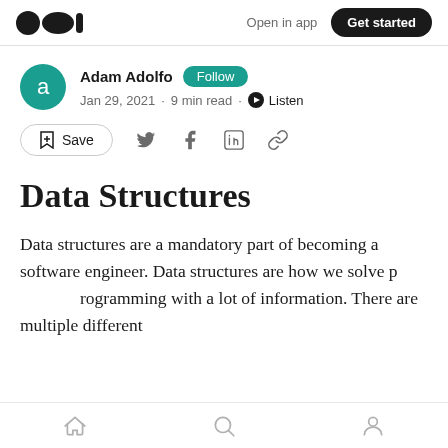Medium — Open in app  Get started
a — Adam Adolfo  Follow
Jan 29, 2021 · 9 min read · Listen
Save
Data Structures
Data structures are a mandatory part of becoming a software engineer. Data structures are how we solve programming with a lot of information. There are multiple different